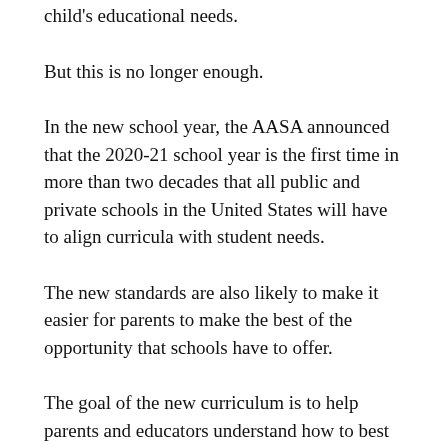child's educational needs.
But this is no longer enough.
In the new school year, the AASA announced that the 2020-21 school year is the first time in more than two decades that all public and private schools in the United States will have to align curricula with student needs.
The new standards are also likely to make it easier for parents to make the best of the opportunity that schools have to offer.
The goal of the new curriculum is to help parents and educators understand how to best plan and create school experiences for their children.
The guidelines say that “a good teacher is a valuable